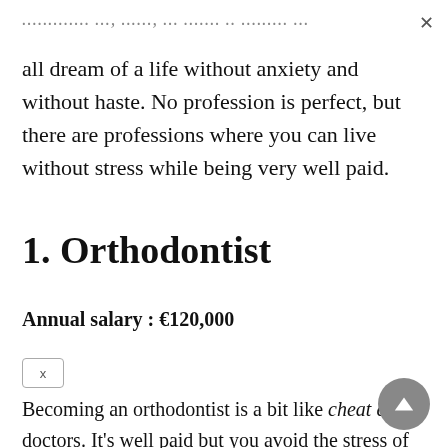…………….…. …..…. …….. .. ………. …. …….. …..
all dream of a life without anxiety and without haste. No profession is perfect, but there are professions where you can live without stress while being very well paid.
1. Orthodontist
Annual salary : €120,000
Becoming an orthodontist is a bit like cheat codes doctors. It's well paid but you avoid the stress of having to save lives: there is little chance of making